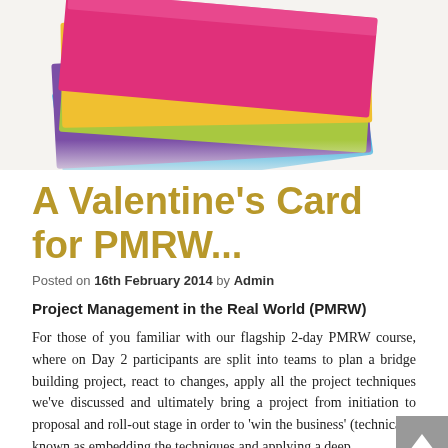[Figure (photo): Colorful stacked sticky notes (Post-it notes) in pink, yellow, purple, blue, and green arranged in a fan/stack pattern on a white background.]
A Valentine's Card for PMRW...
Posted on 16th February 2014 by Admin
Project Management in the Real World (PMRW)
For those of you familiar with our flagship 2-day PMRW course, where on Day 2 participants are split into teams to plan a bridge building project, react to changes, apply all the project techniques we've discussed and ultimately bring a project from initiation to proposal and roll-out stage in order to 'win the business' (technically known as embedding the techniques and applying a deep